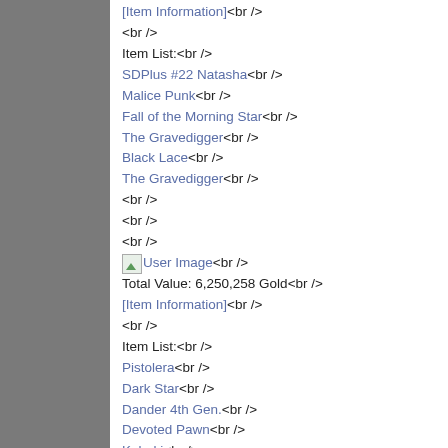[Item Information]<br />
<br />
Item List:<br />
SDPlus #22 Natasha<br />
Malice Punk<br />
Fall of the Morning Star<br />
The Gravedigger<br />
Black Lace<br />
The Gravedigger<br />
<br /><br /><br />
[User Image]<br />
Total Value: 6,250,258 Gold<br />
[Item Information]<br />
<br />
Item List:<br />
Pistolera<br />
Dark Star<br />
Dander 4th Gen.<br />
Devoted Pawn<br />
Kabuki<br />
Sumi Tribe<br />
Skullheads<br />
Yakisoba Dare<br />
<br /><br />
[User Image]<br />
Total Value: 5,953,609 Gold<br />
[Item Information]<br />
<br />